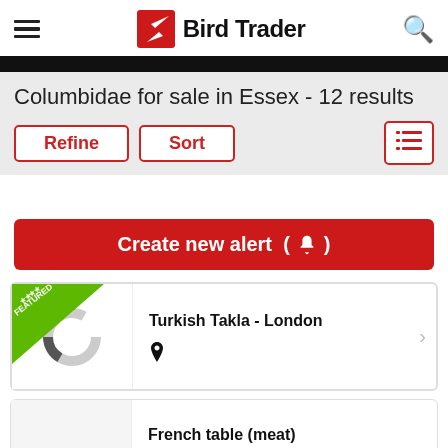Bird Trader
Columbidae for sale in Essex - 12 results
Refine | Sort
Create new alert (🔔)
Turkish Takla - London
French table (meat)